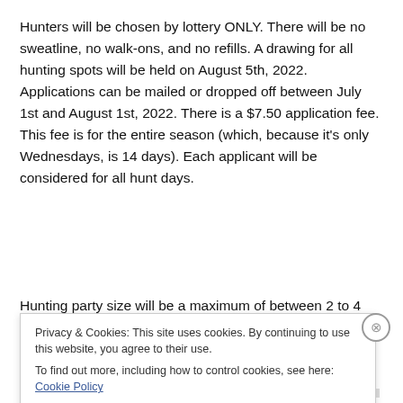Hunters will be chosen by lottery ONLY. There will be no sweatline, no walk-ons, and no refills. A drawing for all hunting spots will be held on August 5th, 2022. Applications can be mailed or dropped off between July 1st and August 1st, 2022. There is a $7.50 application fee. This fee is for the entire season (which, because it's only Wednesdays, is 14 days). Each applicant will be considered for all hunt days.
Hunting party size will be a maximum of between 2 to 4
Privacy & Cookies: This site uses cookies. By continuing to use this website, you agree to their use.
To find out more, including how to control cookies, see here: Cookie Policy